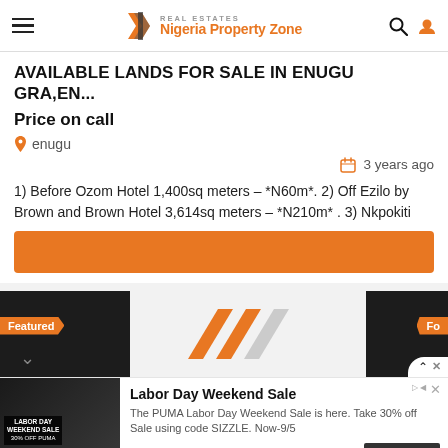Nigeria Property Zone — Real Estates
AVAILABLE LANDS FOR SALE IN ENUGU GRA,EN...
Price on call
enugu
3 years ago
1) Before Ozom Hotel 1,400sq meters – *N60m*. 2) Off Ezilo by Brown and Brown Hotel 3,614sq meters – *N210m* . 3) Nkpokiti
[Figure (screenshot): Orange CTA button]
[Figure (screenshot): Featured property thumbnail row with orange Featured label, orange slashes logo, and right panel with Fo label and up arrow/X button]
[Figure (screenshot): PUMA Labor Day Weekend Sale advertisement banner with photo, title, description and Shop Now button]